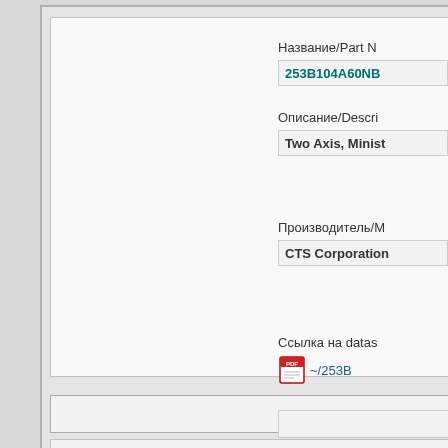Название/Part N
253B104A60NB
Описание/Descri
Two Axis, Minist
Производитель/M
CTS Corporation
Ссылка на datas
~/253B
253B104A60NB.PDF (4.10 Mb)